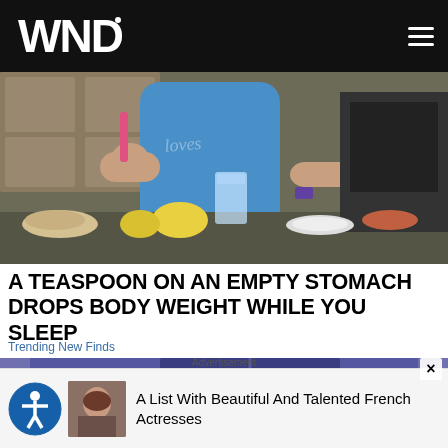WND
[Figure (photo): Kitchen scene showing a person in a blue top near a counter with a glass of water, lemons, and various food items.]
A TEASPOON ON AN EMPTY STOMACH DROPS BODY WEIGHT WHILE YOU SLEEP
Trending New Finds
[Figure (illustration): Cartoon illustration of a young man lying in bed at night with a clock showing 01:37 on a nightstand.]
Advertisement
A List With Beautiful And Talented French Actresses